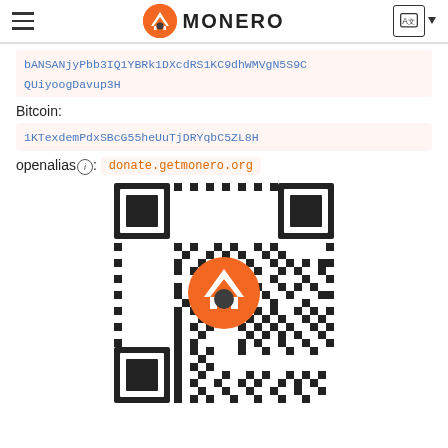MONERO
bANSANjyPbb3IQ1YBRk1DXcdRS1KC9dhWMVgN5S9CQUiyoogDavup3H
Bitcoin:
1KTexdemPdxSBcG55heUuTjDRYqbC5ZL8H
openalias: donate.getmonero.org
[Figure (other): QR code for Monero donation address with Monero logo (orange M) in the center]